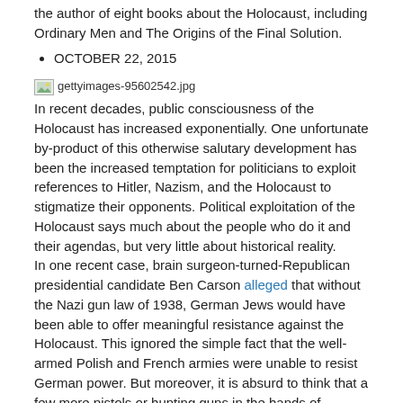the author of eight books about the Holocaust, including Ordinary Men and The Origins of the Final Solution.
OCTOBER 22, 2015
[Figure (photo): gettyimages-95602542.jpg]
In recent decades, public consciousness of the Holocaust has increased exponentially. One unfortunate by-product of this otherwise salutary development has been the increased temptation for politicians to exploit references to Hitler, Nazism, and the Holocaust to stigmatize their opponents. Political exploitation of the Holocaust says much about the people who do it and their agendas, but very little about historical reality.
In one recent case, brain surgeon-turned-Republican presidential candidate Ben Carson alleged that without the Nazi gun law of 1938, German Jews would have been able to offer meaningful resistance against the Holocaust. This ignored the simple fact that the well-armed Polish and French armies were unable to resist German power. But moreover, it is absurd to think that a few more pistols or hunting guns in the hands of German Jews — by then a population predominately old and female — would have changed their fate.
As of this week, Israeli Prime Minister Benjamin Netanyahu has undertaken an even more blatantly mendacious attempt to exploit